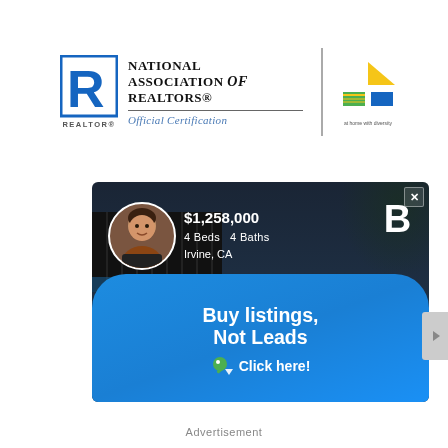[Figure (logo): National Association of REALTORS Official Certification logo with REALTOR R mark on left, NAR text and Official Certification italic text, vertical divider bar, and green/colorful home logo on right]
[Figure (infographic): Real estate listing advertisement banner showing a house at dusk, agent photo, $1,258,000 listing price, 4 Beds 4 Baths, Irvine CA, Bold B logo, blue rounded bottom section reading Buy listings, Not Leads, Click here! CTA with tag icon]
Advertisement